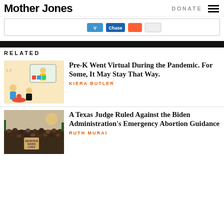Mother Jones | DONATE
[Figure (other): Advertisement banner with payment icons (Venmo, Chase blue, etc.)]
RELATED
[Figure (illustration): Colorful illustration of children in virtual Pre-K class with a teacher on screen]
Pre-K Went Virtual During the Pandemic. For Some, It May Stay That Way.
KIERA BUTLER
[Figure (photo): Crowd of protesters, one holding a sign reading ABORTION SAVES LIVES]
A Texas Judge Ruled Against the Biden Administration's Emergency Abortion Guidance
RUTH MURAI